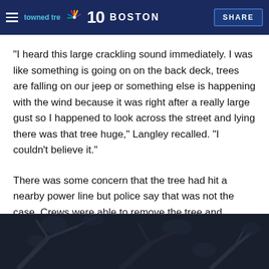NBC 10 BOSTON | SHARE
"I heard this large crackling sound immediately. I was like something is going on on the back deck, trees are falling on our jeep or something else is happening with the wind because it was right after a really large gust so I happened to look across the street and lying there was that tree huge," Langley recalled. "I couldn't believe it."
There was some concern that the tree had hit a nearby power line but police say that was not the case. Crews were able to remove the tree and Bennington Street was back open to traffic.
[Figure (photo): Dark photograph showing tree branches, partially visible at the bottom of the page]